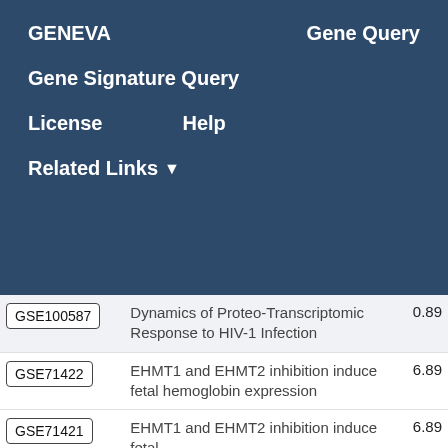GENEVA   Gene Query
Gene Signature Query
License   Help
Related Links ▼
| GSE ID | Description | Score |
| --- | --- | --- |
| GSE100587 | Dynamics of Proteo-Transcriptomic Response to HIV-1 Infection | 0.89 |
| GSE71422 | EHMT1 and EHMT2 inhibition induce fetal hemoglobin expression | 6.89 |
| GSE71421 | EHMT1 and EHMT2 inhibition induce fetal | 6.89 |